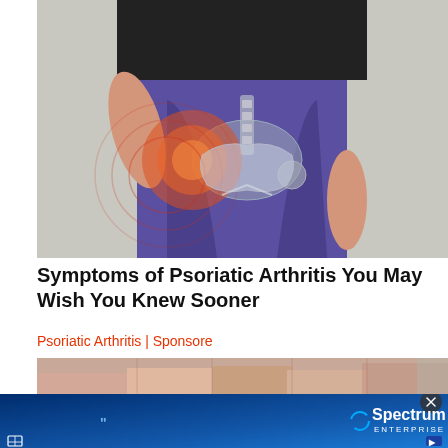[Figure (photo): Medical advertisement image showing a person in blue/purple leggings with a black top, holding their hip area. An anatomical overlay shows hip joint bones with red inflammation indicators and concentric circles suggesting pain.]
Symptoms of Psoriatic Arthritis You May Wish You Knew Sooner
Psoriatic Arthritis | Sponsore
[Figure (photo): Partial image at bottom showing skin/feet, cropped.]
[Figure (screenshot): Spectrum Enterprise advertisement banner with dark blue gradient background, showing Spectrum Enterprise logo on the right, a close button (X), a quote mark, and navigation icons at the bottom corners.]